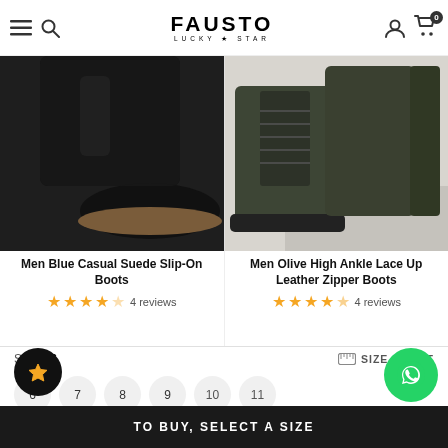FAUSTO LUCKY STAR
[Figure (photo): Men Blue Casual Suede Slip-On Boots - close-up of black suede boots with brown sole]
[Figure (photo): Men Olive High Ankle Lace Up Leather Zipper Boots - olive/dark green leather boots on concrete block]
Men Blue Casual Suede Slip-On Boots
4 reviews - 3.5 star rating
Men Olive High Ankle Lace Up Leather Zipper Boots
4 reviews - 4.5 star rating
SIZE: 6
SIZE CHART
6
7
8
9
10
11
TO BUY, SELECT A SIZE